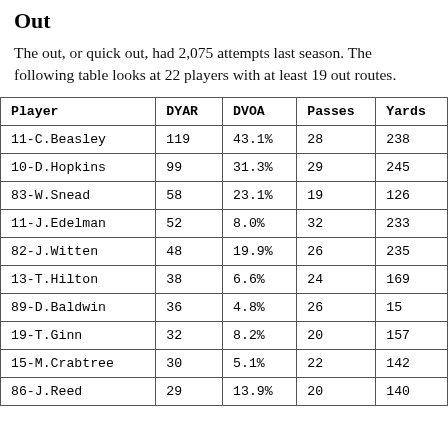Out
The out, or quick out, had 2,075 attempts last season. The following table looks at 22 players with at least 19 out routes.
| Player | DYAR | DVOA | Passes | Yards |
| --- | --- | --- | --- | --- |
| 11-C.Beasley | 119 | 43.1% | 28 | 238 |
| 10-D.Hopkins | 99 | 31.3% | 29 | 245 |
| 83-W.Snead | 58 | 23.1% | 19 | 126 |
| 11-J.Edelman | 52 | 8.0% | 32 | 233 |
| 82-J.Witten | 48 | 19.9% | 26 | 235 |
| 13-T.Hilton | 38 | 6.6% | 24 | 169 |
| 89-D.Baldwin | 36 | 4.8% | 26 | 15… |
| 19-T.Ginn | 32 | 8.2% | 20 | 157 |
| 15-M.Crabtree | 30 | 5.1% | 22 | 142 |
| 86-J.Reed | 29 | 13.9% | 20 | 140 |